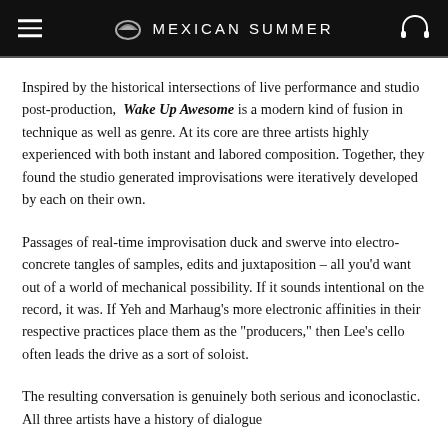MEXICAN SUMMER
Inspired by the historical intersections of live performance and studio post-production, Wake Up Awesome is a modern kind of fusion in technique as well as genre. At its core are three artists highly experienced with both instant and labored composition. Together, they found the studio generated improvisations were iteratively developed by each on their own.
Passages of real-time improvisation duck and swerve into electro-concrete tangles of samples, edits and juxtaposition – all you'd want out of a world of mechanical possibility. If it sounds intentional on the record, it was. If Yeh and Marhaug's more electronic affinities in their respective practices place them as the "producers," then Lee's cello often leads the drive as a sort of soloist.
The resulting conversation is genuinely both serious and iconoclastic. All three artists have a history of dialogue...